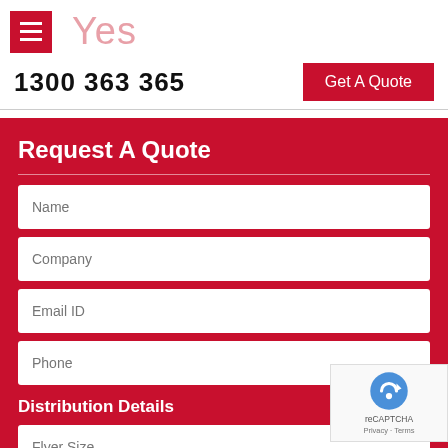[Figure (logo): Hamburger menu icon (red square with three white lines) next to a light pink 'Yes' text logo]
1300 363 365
Get A Quote
Request A Quote
Name
Company
Email ID
Phone
Distribution Details
Flyer Size